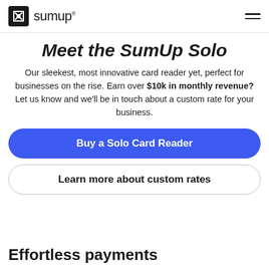sumup
Meet the SumUp Solo
Our sleekest, most innovative card reader yet, perfect for businesses on the rise. Earn over $10k in monthly revenue? Let us know and we'll be in touch about a custom rate for your business.
Buy a Solo Card Reader
Learn more about custom rates
Effortless payments